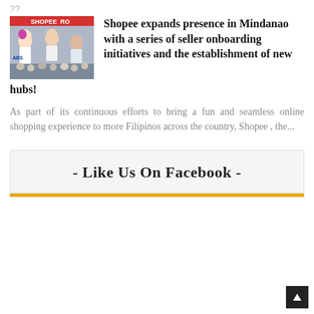??
[Figure (photo): A photo from a Shopee event showing people on stage with a red SHOPEE RO banner visible.]
Shopee expands presence in Mindanao with a series of seller onboarding initiatives and the establishment of new hubs!
As part of its continuous efforts to bring a fun and seamless online shopping experience to more Filipinos across the country, Shopee , the...
- Like Us On Facebook -